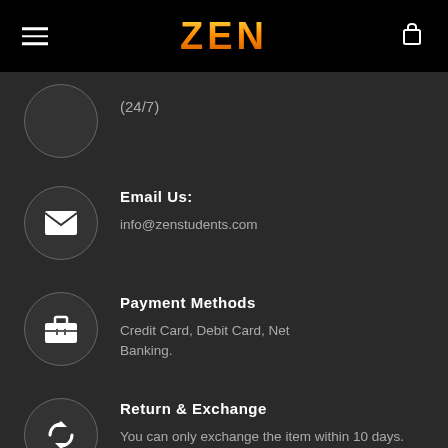ZEN
(24/7)
Email us:
info@zenstudents.com
Payment Methods
Credit Card, Debit Card, Net Banking.
Return & Exchange
You can only exchange the item within 10 days.
ZEN